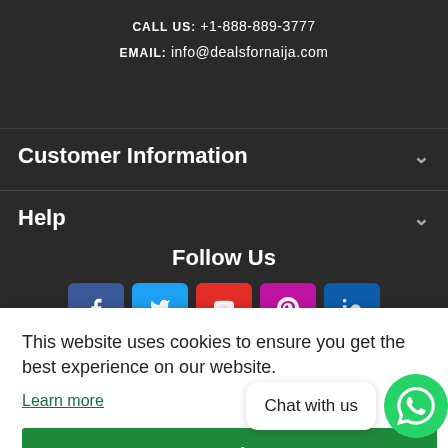CALL US: +1-888-889-3777
EMAIL: info@dealsfornaija.com
Customer Information
Help
Follow Us
[Figure (screenshot): Social media icons row: Facebook (blue), Twitter (cyan), YouTube (red), Pinterest (magenta), LinkedIn (dark blue)]
This website uses cookies to ensure you get the best experience on our website.
Learn more
Got it!
Chat with us